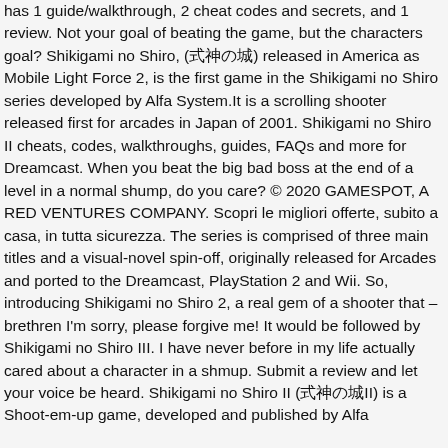has 1 guide/walkthrough, 2 cheat codes and secrets, and 1 review. Not your goal of beating the game, but the characters goal? Shikigami no Shiro, (式神の城) released in America as Mobile Light Force 2, is the first game in the Shikigami no Shiro series developed by Alfa System.It is a scrolling shooter released first for arcades in Japan of 2001. Shikigami no Shiro II cheats, codes, walkthroughs, guides, FAQs and more for Dreamcast. When you beat the big bad boss at the end of a level in a normal shump, do you care? © 2020 GAMESPOT, A RED VENTURES COMPANY. Scopri le migliori offerte, subito a casa, in tutta sicurezza. The series is comprised of three main titles and a visual-novel spin-off, originally released for Arcades and ported to the Dreamcast, PlayStation 2 and Wii. So, introducing Shikigami no Shiro 2, a real gem of a shooter that – brethren I'm sorry, please forgive me! It would be followed by Shikigami no Shiro III. I have never before in my life actually cared about a character in a shmup. Submit a review and let your voice be heard. Shikigami no Shiro II (式神の城II) is a Shoot-em-up game, developed and published by Alfa